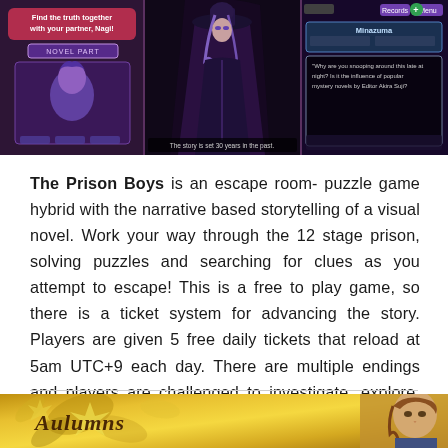[Figure (screenshot): Screenshots of 'The Prison Boys' game showing three panels: left panel with a character in a dark room and 'Novel Part' label, middle panel showing a dark-cloaked character, right panel showing game UI with Records and Menu buttons and dialogue text.]
The Prison Boys is an escape room- puzzle game hybrid with the narrative based storytelling of a visual novel. Work your way through the 12 stage prison, solving puzzles and searching for clues as you attempt to escape! This is a free to play game, so there is a ticket system for advancing the story. Players are given 5 free daily tickets that reload at 5am UTC+9 each day. There are multiple endings and players are challenged to investigate, explore, and collect items to help solve the mystery of Asakusa 12-Story Prison.
[Figure (screenshot): Bottom screenshot showing a golden/yellow toned game scene with stylized text and a character with brown hair visible on the right side.]